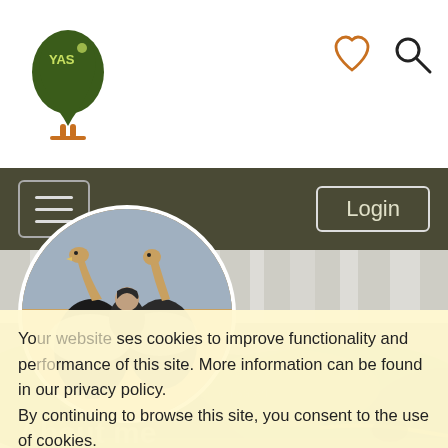[Figure (logo): YAS Africa logo with tree and map of Africa icon]
[Figure (illustration): Heart (favorite) icon in orange]
[Figure (illustration): Search magnifying glass icon]
[Figure (photo): Hero landscape photo of Victoria Falls with green hills]
[Figure (photo): Circular profile picture of person riding ostriches]
Yo... ses cookies to improve functionality and performance of this site. More information can be found in our privacy policy.
By continuing to browse this site, you consent to the use of cookies.
OK
About me